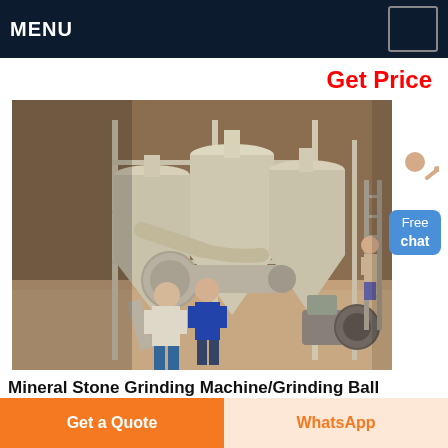MENU
Get Price
[Figure (photo): Industrial grinding machine installation inside a warehouse. Large cylindrical silos/hoppers connected by pipes, with workers standing in front. White metal framework structure visible. Equipment includes cyclone separators and conveying systems.]
Mineral Stone Grinding Machine/Grinding Ball
Get a Quote
WhatsApp